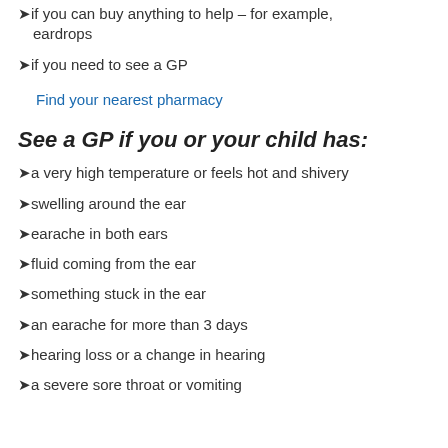if you can buy anything to help – for example, eardrops
if you need to see a GP
Find your nearest pharmacy
See a GP if you or your child has:
a very high temperature or feels hot and shivery
swelling around the ear
earache in both ears
fluid coming from the ear
something stuck in the ear
an earache for more than 3 days
hearing loss or a change in hearing
a severe sore throat or vomiting